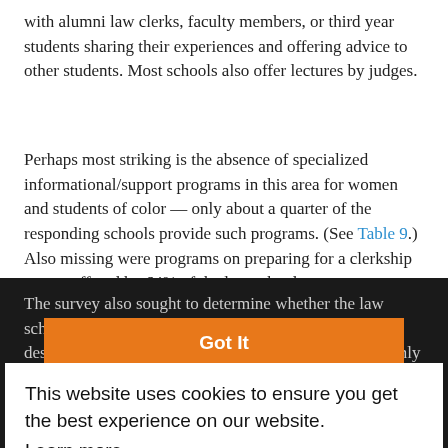with alumni law clerks, faculty members, or third year students sharing their experiences and offering advice to other students. Most schools also offer lectures by judges.
Perhaps most striking is the absence of specialized informational/support programs in this area for women and students of color — only about a quarter of the responding schools provide such programs. (See Table 9.) Also missing were programs on preparing for a clerkship — not offered by 64% of the law schools.
The survey also sought to determine whether the law schools had implemented any academic programs designed to support or encourage judicial clerkships. Only 15% of the schools reported such programs, with private schools more likely (21%) than public schools (5%). Schools characterized them as having clerkship-related academic programs listed the following as examples: writing sample workshops, judges and the community courts, judicial process clinic, judicial opinion drafting, judicial practicum
Got It
This website uses cookies to ensure you get the best experience on our website.
Learn more